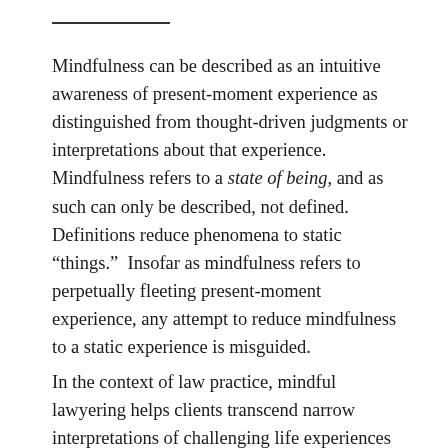Mindfulness can be described as an intuitive awareness of present-moment experience as distinguished from thought-driven judgments or interpretations about that experience. Mindfulness refers to a state of being, and as such can only be described, not defined. Definitions reduce phenomena to static “things.” Insofar as mindfulness refers to perpetually fleeting present-moment experience, any attempt to reduce mindfulness to a static experience is misguided.
In the context of law practice, mindful lawyering helps clients transcend narrow interpretations of challenging life experiences